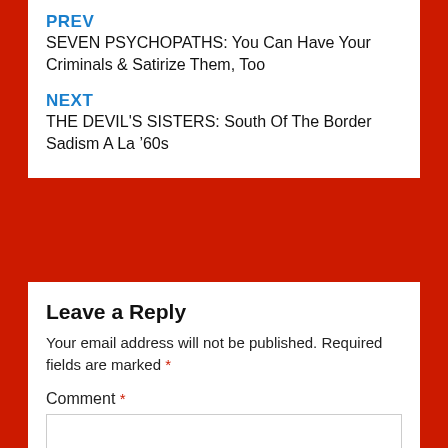PREV
SEVEN PSYCHOPATHS: You Can Have Your Criminals & Satirize Them, Too
NEXT
THE DEVIL'S SISTERS: South Of The Border Sadism A La '60s
Leave a Reply
Your email address will not be published. Required fields are marked *
Comment *